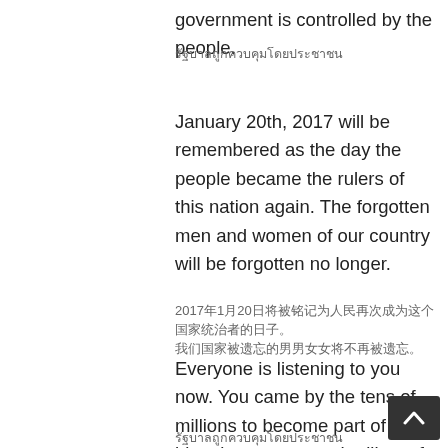government is controlled by the people.
รัฐบาลถูกควบคุมโดยประชาชน
January 20th, 2017 will be remembered as the day the people became the rulers of this nation again. The forgotten men and women of our country will be forgotten no longer.
2017年1月20日将被铭记为人民再次成为这个国家统治者的日子。我们国家被遗忘的男男女女将不再被遗忘。
Everyone is listening to you now. You came by the tens of millions to become part of a historic movement, the likes of which the world has never seen before.
现在每个人都在听你的。你们数以千万计地来到这里，成为一场历史性运动的一部分，这是世界从未见过的。